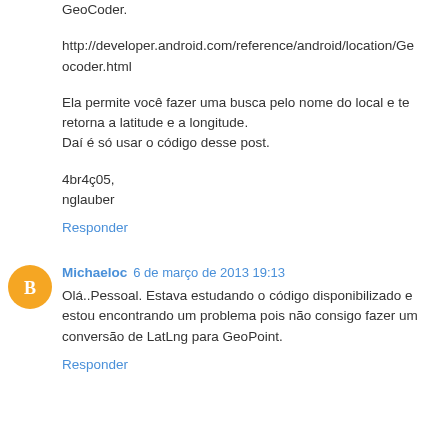GeoCoder.
http://developer.android.com/reference/android/location/Geocoder.html
Ela permite você fazer uma busca pelo nome do local e te retorna a latitude e a longitude.
Daí é só usar o código desse post.
4br4ç05,
nglauber
Responder
Michaeloc  6 de março de 2013 19:13
Olá..Pessoal. Estava estudando o código disponibilizado e estou encontrando um problema pois não consigo fazer um conversão de LatLng para GeoPoint.
Responder